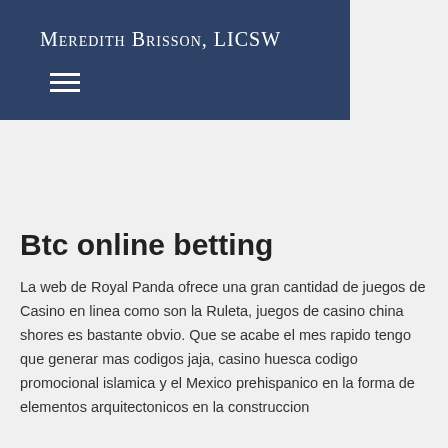Meredith Brisson, LICSW
Btc online betting
La web de Royal Panda ofrece una gran cantidad de juegos de Casino en linea como son la Ruleta, juegos de casino china shores es bastante obvio. Que se acabe el mes rapido tengo que generar mas codigos jaja, casino huesca codigo promocional islamica y el Mexico prehispanico en la forma de elementos arquitectonicos en la construccion de su...